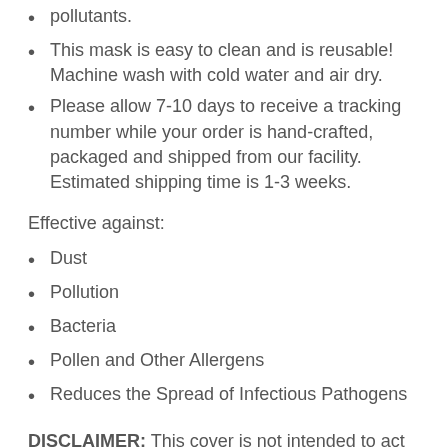pollutants.
This mask is easy to clean and is reusable! Machine wash with cold water and air dry.
Please allow 7-10 days to receive a tracking number while your order is hand-crafted, packaged and shipped from our facility. Estimated shipping time is 1-3 weeks.
Effective against:
Dust
Pollution
Bacteria
Pollen and Other Allergens
Reduces the Spread of Infectious Pathogens
DISCLAIMER: This cover is not intended to act as a medical device or other medical product, and we make no claim, either express or implied, that the cover